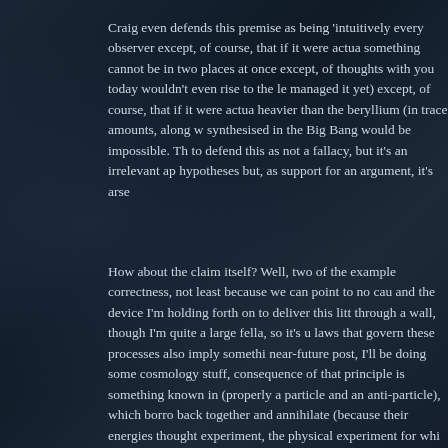Craig even defends this premise as being 'intuitively every observer except, of course, that if it were actua something cannot be in two places at once except, of thoughts with you today wouldn't even rise to the le managed it yet) except, of course, that if it were actua heavier than the beryllium (in trace amounts, along w synthesised in the Big Bang would be impossible. Th to defend this as not a fallacy, but it's an irrelevant ap hypotheses but, as support for an argument, it's arse
How about the claim itself? Well, two of the example correctness, not least because we can point to no cau and the device I'm holding forth on to deliver this litt through a wall, though I'm quite a large fella, so it's u laws that govern these processes also imply somethi near-future post, I'll be doing some cosmology stuff, consequence of that principle is something known in (properly a particle and an anti-particle), which borro back together and annihilate (because their energies thought experiment, the physical experiment for whi ridiculous precision (this has been compared with b